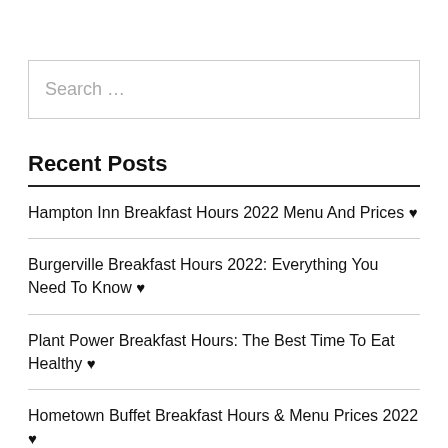Search …
Recent Posts
Hampton Inn Breakfast Hours 2022 Menu And Prices ♥
Burgerville Breakfast Hours 2022: Everything You Need To Know ♥
Plant Power Breakfast Hours: The Best Time To Eat Healthy ♥
Hometown Buffet Breakfast Hours & Menu Prices 2022 ♥